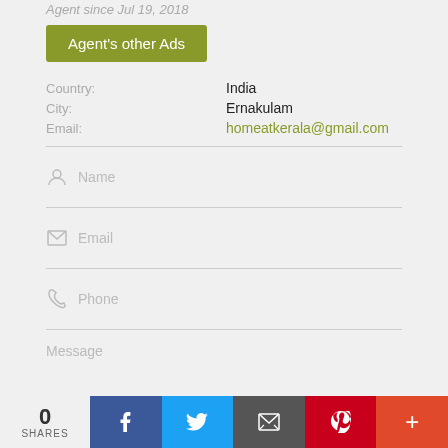Agent since Jul 19, 2018
Agent's other Ads
Country: India
City: Ernakulam
Email: homeatkerala@gmail.com
Name
Email
Phone
Message
0 SHARES
f
Twitter
Email share
Pinterest
+